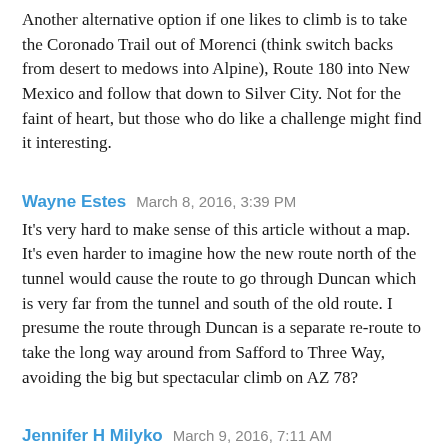Another alternative option if one likes to climb is to take the Coronado Trail out of Morenci (think switch backs from desert to medows into Alpine), Route 180 into New Mexico and follow that down to Silver City. Not for the faint of heart, but those who do like a challenge might find it interesting.
Wayne Estes   March 8, 2016, 3:39 PM
It's very hard to make sense of this article without a map. It's even harder to imagine how the new route north of the tunnel would cause the route to go through Duncan which is very far from the tunnel and south of the old route. I presume the route through Duncan is a separate re-route to take the long way around from Safford to Three Way, avoiding the big but spectacular climb on AZ 78?
Jennifer H Milyko   March 9, 2016, 7:11 AM